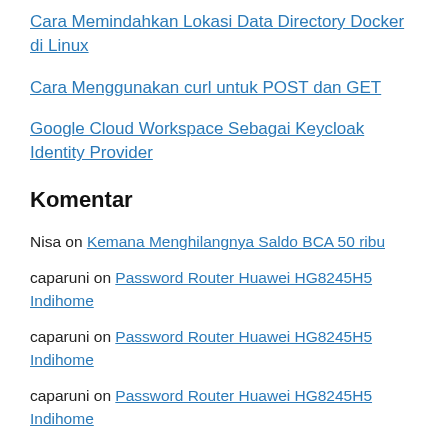Cara Memindahkan Lokasi Data Directory Docker di Linux
Cara Menggunakan curl untuk POST dan GET
Google Cloud Workspace Sebagai Keycloak Identity Provider
Komentar
Nisa on Kemana Menghilangnya Saldo BCA 50 ribu
caparuni on Password Router Huawei HG8245H5 Indihome
caparuni on Password Router Huawei HG8245H5 Indihome
caparuni on Password Router Huawei HG8245H5 Indihome
Alfandi on Kemana Menghilangnya Saldo BCA 50 ribu